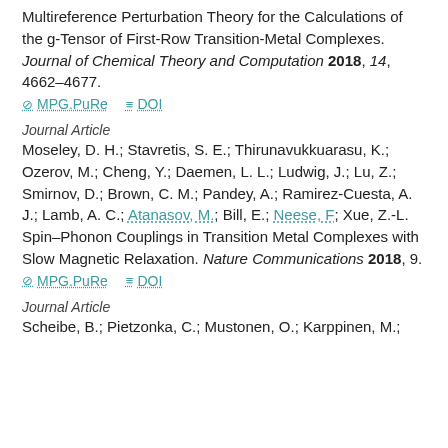Multireference Perturbation Theory for the Calculations of the g-Tensor of First-Row Transition-Metal Complexes. Journal of Chemical Theory and Computation 2018, 14, 4662–4677.
⊘ MPG.PuRe   ≡ DOI
Journal Article
Moseley, D. H.; Stavretis, S. E.; Thirunavukkuarasu, K.; Ozerov, M.; Cheng, Y.; Daemen, L. L.; Ludwig, J.; Lu, Z.; Smirnov, D.; Brown, C. M.; Pandey, A.; Ramirez-Cuesta, A. J.; Lamb, A. C.; Atanasov, M.; Bill, E.; Neese, F; Xue, Z.-L. Spin–Phonon Couplings in Transition Metal Complexes with Slow Magnetic Relaxation. Nature Communications 2018, 9.
⊘ MPG.PuRe   ≡ DOI
Journal Article
Scheibe, B.; Pietzonka, C.; Mustonen, O.; Karppinen, M.;